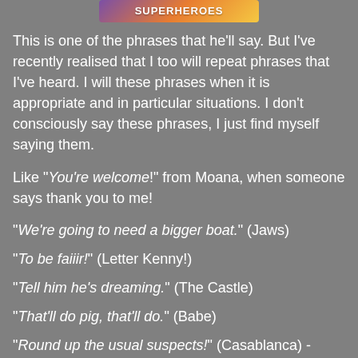[Figure (illustration): Colorful gradient banner at top center, partially visible, with text resembling a logo or title in purple, orange, and yellow gradient]
This is one of the phrases that he'll say. But I've recently realised that I too will repeat phrases that I've heard. I will these phrases when it is appropriate and in particular situations. I don't consciously say these phrases, I just find myself saying them.
Like "You're welcome!" from Moana, when someone says thank you to me!
"We're going to need a bigger boat." (Jaws)
"To be faiiir!" (Letter Kenny!)
"Tell him he's dreaming." (The Castle)
"That'll do pig, that'll do." (Babe)
"Round up the usual suspects!" (Casablanca) - when we're organising the little superheroes to go somewhere!
"Houston, we have a problem." (Apollo 13)